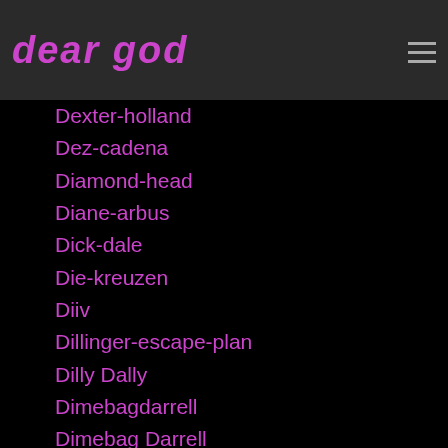dear god
Dexter-holland
Dez-cadena
Diamond-head
Diane-arbus
Dick-dale
Die-kreuzen
Diiv
Dillinger-escape-plan
Dilly Dally
Dimebagdarrell
Dimebag Darrell
Dimitri-shostakovich
Dinosaur Jr
Dinosaur-l
Dire Straits
Dirty-fences
Dirty-ghosts